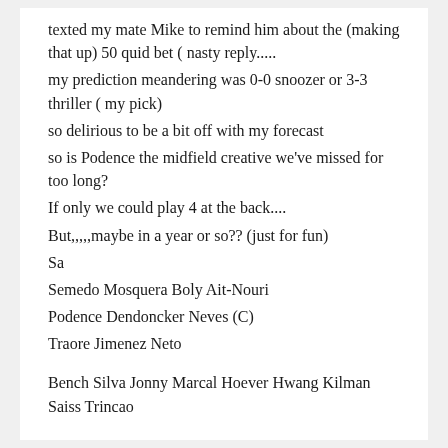texted my mate Mike to remind him about the (making that up) 50 quid bet ( nasty reply.....
my prediction meandering was 0-0 snoozer or 3-3 thriller ( my pick)
so delirious to be a bit off with my forecast
so is Podence the midfield creative we've missed for too long?
If only we could play 4 at the back....
But,,,,,maybe in a year or so?? (just for fun)
Sa
Semedo Mosquera Boly Ait-Nouri
Podence Dendoncker Neves (C)
Traore Jimenez Neto
Bench Silva Jonny Marcal Hoever Hwang Kilman Saiss Trincao